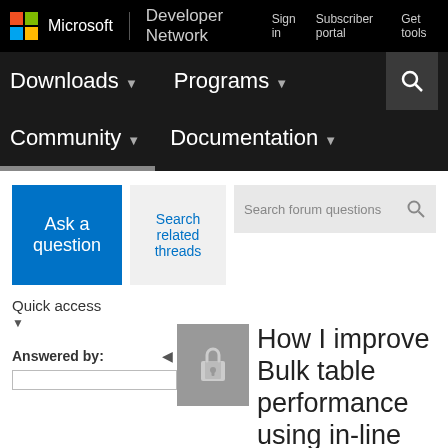Microsoft | Developer Network
Sign in  Subscriber portal  Get tools
Downloads  Programs  Community  Documentation
[Figure (screenshot): Ask a question button (blue), Search related threads button, Search forum questions input box]
Quick access
Answered by:
How I improve Bulk table performance using in-line SQL Tabl...